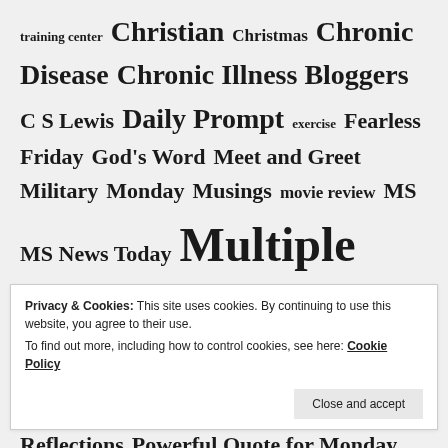training center Christian Christmas Chronic Disease Chronic Illness Bloggers C S Lewis Daily Prompt exercise Fearless Friday God's Word Meet and Greet Military Monday Musings movie review MS MS News Today Multiple Sclerosis Oswald Chambers Patriotism Personal Reflections Powerful Quote for Monday quotes Race Relations Scriptures for Sunday Sunday Devotion Wednesday's Word
TAGS
Privacy & Cookies: This site uses cookies. By continuing to use this website, you agree to their use. To find out more, including how to control cookies, see here: Cookie Policy Close and accept